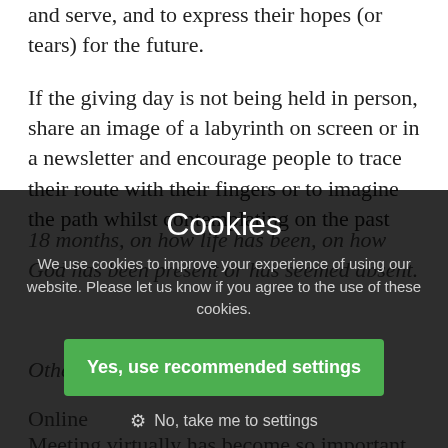and serve, and to express their hopes (or tears) for the future.
If the giving day is not being held in person, share an image of a labyrinth on screen or in a newsletter and encourage people to trace their route with their fingers or to imagine the path whilst contemplating on the past 18 months, on how life has been, on how God has been present or has seemed absent.
Other types of gatherings
Online
Meeting virtually has become so important as an al...
[Figure (screenshot): Cookie consent overlay dialog with title 'Cookies', body text about cookie usage, a green 'Yes, use recommended settings' button, and a 'No, take me to settings' link with a gear icon.]